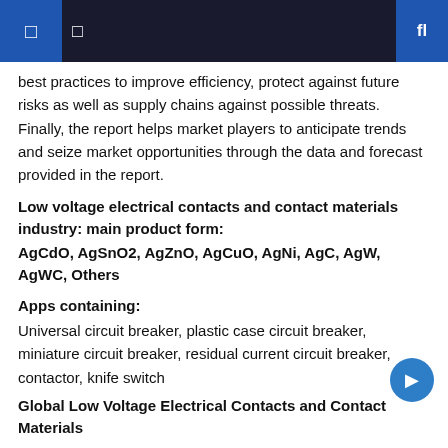best practices to improve efficiency, protect against future risks as well as supply chains against possible threats. Finally, the report helps market players to anticipate trends and seize market opportunities through the data and forecast provided in the report.
Low voltage electrical contacts and contact materials industry: main product form:
AgCdO, AgSnO2, AgZnO, AgCuO, AgNi, AgC, AgW, AgWC, Others
Apps containing:
Universal circuit breaker, plastic case circuit breaker, miniature circuit breaker, residual current circuit breaker, contactor, knife switch
Global Low Voltage Electrical Contacts and Contact Materials